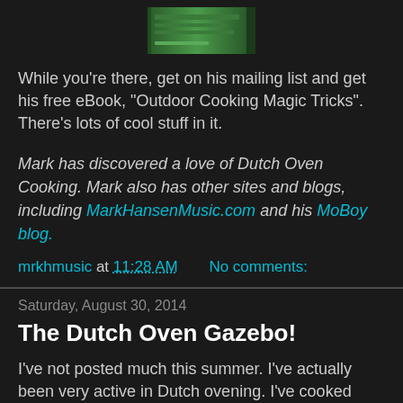[Figure (illustration): Book or eBook cover image shown partially at top center, green colored book]
While you're there, get on his mailing list and get his free eBook, "Outdoor Cooking Magic Tricks". There's lots of cool stuff in it.
Mark has discovered a love of Dutch Oven Cooking. Mark also has other sites and blogs, including MarkHansenMusic.com and his MoBoy blog.
mrkhmusic at 11:28 AM    No comments:
Saturday, August 30, 2014
The Dutch Oven Gazebo!
I've not posted much this summer. I've actually been very active in Dutch ovening. I've cooked quite a bit, and I've judged a few cookoffs. But I haven't been writing much. There are a lot of reasons for that, including overall stress and working on another book, but the big reason is that I've